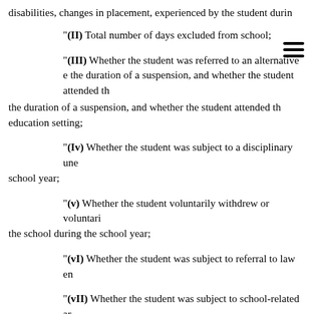disabilities, changes in placement, experienced by the student durin
"(II) Total number of days excluded from school;
"(III) Whether the student was referred to an alternative education setting during the duration of a suspension, and whether the student attended the alternative education setting;
"(Iv) Whether the student was subject to a disciplinary unenrollment during the school year;
"(v) Whether the student voluntarily withdrew or voluntarily transferred from the school during the school year;
"(vI) Whether the student was subject to referral to law enforcement;
"(vII) Whether the student was subject to school-related arrest;
"(vIII) A description of the misconduct that led to or reasons for each suspension, involuntary dismissal, emergency removal, disciplinary unenrollment, voluntary withdrawal or transfer, referral to law enforcement, scho